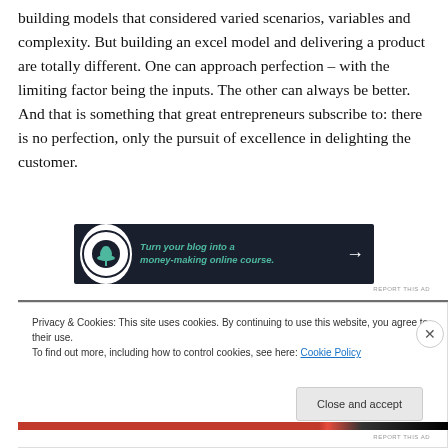building models that considered varied scenarios, variables and complexity. But building an excel model and delivering a product are totally different. One can approach perfection – with the limiting factor being the inputs. The other can always be better. And that is something that great entrepreneurs subscribe to: there is no perfection, only the pursuit of excellence in delighting the customer.
[Figure (other): Advertisement banner with dark background: tree/bonsai icon in white circle, green italic text 'Turn your blog into a money-making online course.' with white arrow pointing right]
REPORT THIS AD
[Figure (photo): Partial dark/grayscale image strip visible at top of lower section]
Privacy & Cookies: This site uses cookies. By continuing to use this website, you agree to their use.
To find out more, including how to control cookies, see here: Cookie Policy
Close and accept
REPORT THIS AD